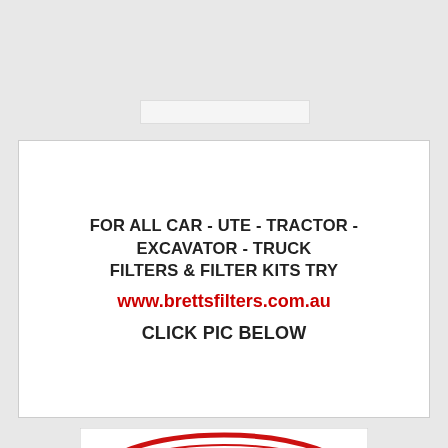[Figure (other): Search bar input field (light gray rectangle)]
FOR ALL CAR - UTE - TRACTOR - EXCAVATOR - TRUCK FILTERS & FILTER KITS TRY
www.brettsfilters.com.au
CLICK PIC BELOW
[Figure (logo): Brett's logo: red text 'Brett's' inside a red oval outline on white background]